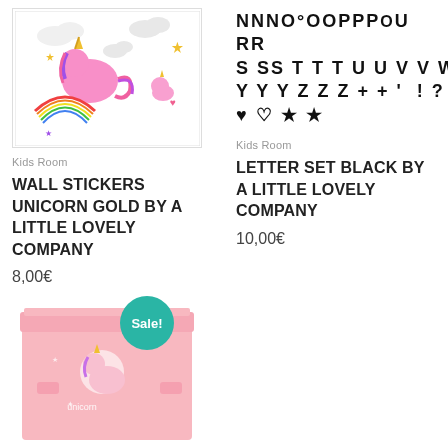[Figure (photo): Unicorn gold wall stickers sheet with colorful unicorns, rainbows, clouds, and stars]
Kids Room
WALL STICKERS UNICORN GOLD BY A LITTLE LOVELY COMPANY
8,00€
[Figure (photo): Letter set black by A Little Lovely Company showing alphabet characters NNNO°OOPPPOO RR S SS TTTUUVVWWXX YYYZZZ++'!?#& and heart/star symbols]
Kids Room
LETTER SET BLACK BY A LITTLE LOVELY COMPANY
10,00€
[Figure (photo): Pink unicorn storage/toy box with Sale! badge overlay]
Sale!